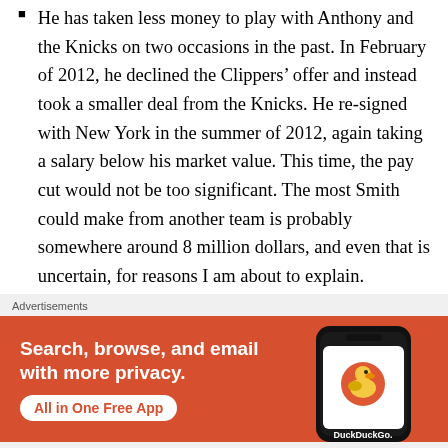He has taken less money to play with Anthony and the Knicks on two occasions in the past. In February of 2012, he declined the Clippers' offer and instead took a smaller deal from the Knicks. He re-signed with New York in the summer of 2012, again taking a salary below his market value. This time, the pay cut would not be too significant. The most Smith could make from another team is probably somewhere around 8 million dollars, and even that is uncertain, for reasons I am about to explain.
As I said before, Smith is an enigma. He lives “the fast life”, going to clubs and parties every night, roaming
Advertisements
[Figure (infographic): DuckDuckGo advertisement banner with orange background showing phone mockup. Text reads: Search, browse, and email with more privacy. All in One Free App. DuckDuckGo logo visible on phone screen.]